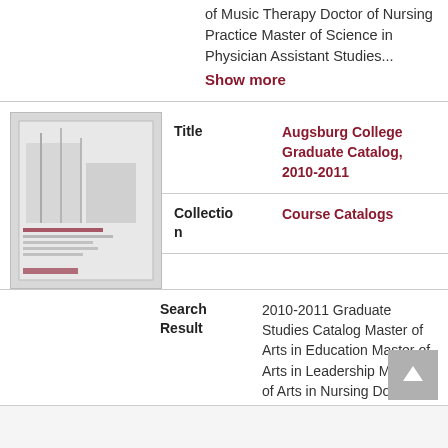of Music Therapy Doctor of Nursing Practice Master of Science in Physician Assistant Studies...
Show more
[Figure (photo): Thumbnail image of Augsburg College Graduate Catalog 2010-2011 book cover]
| Label | Value |
| --- | --- |
| Title | Augsburg College Graduate Catalog, 2010-2011 |
| Collection | Course Catalogs |
| Search Result | 2010-2011 Graduate Studies Catalog Master of Arts in Education Master of Arts in Leadership Master of Arts in Nursing Doctor of Nursing Practice Master of Business Administration Master of Science in Physician Assistant Studies Master of Social Work at Graduate Studies Catalog 2010-2011 O... |
Show more